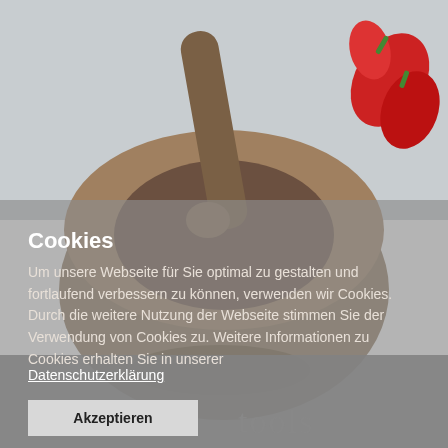[Figure (photo): Background photo of a wooden mortar and pestle with red chili peppers on a grey surface. A semi-transparent grey overlay covers the lower portion of the image.]
Cookies
Um unsere Webseite für Sie optimal zu gestalten und fortlaufend verbessern zu können, verwenden wir Cookies. Durch die weitere Nutzung der Webseite stimmen Sie der Verwendung von Cookies zu. Weitere Informationen zu Cookies erhalten Sie in unserer
Datenschutzerklärung
Akzeptieren
tools